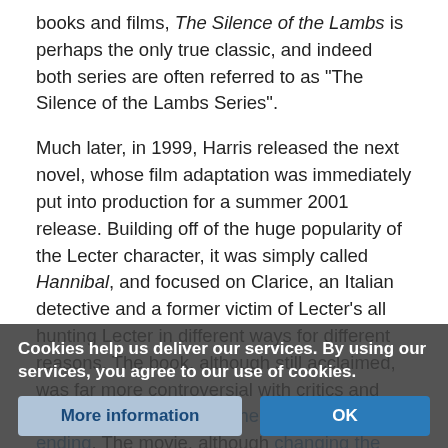books and films, The Silence of the Lambs is perhaps the only true classic, and indeed both series are often referred to as "The Silence of the Lambs Series".
Much later, in 1999, Harris released the next novel, whose film adaptation was immediately put into production for a summer 2001 release. Building off of the huge popularity of the Lecter character, it was simply called Hannibal, and focused on Clarice, an Italian detective and a former victim of Lecter's all hunting Lecter in different ways for different reasons. The book, although still acclaimed, was far more controversial with critics and readers, especially with the controversial ending. The movie, although changing the ending, received mixed reviews, not least of all because Jodie Foster decided not to return to the role she made famous and was replaced by Julianne Moore. Both book and film, howe... ey.
Cookies help us deliver our services. By using our services, you agree to our use of cookies.